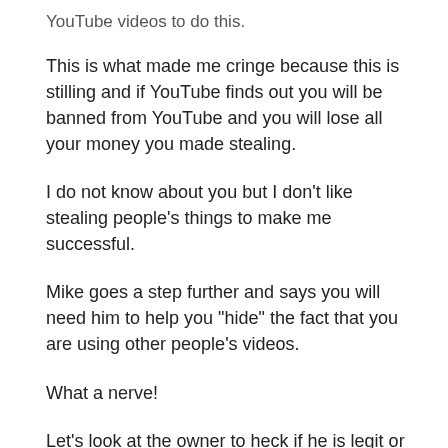YouTube videos to do this.
This is what made me cringe because this is stilling and if YouTube finds out you will be banned from YouTube and you will lose all your money you made stealing.
I do not know about you but I don’t like stealing people’s things to make me successful.
Mike goes a step further and says you will need him to help you “hide” the fact that you are using other people’s videos.
What a nerve!
Let’s look at the owner to heck if he is legit or not.